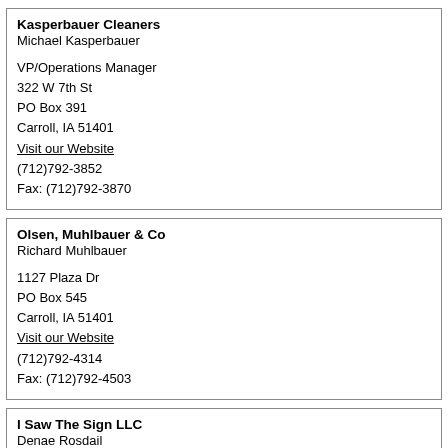Kasperbauer Cleaners
Michael Kasperbauer

VP/Operations Manager
322 W 7th St
PO Box 391
Carroll, IA 51401
Visit our Website
(712)792-3852
Fax: (712)792-3870
Olsen, Muhlbauer & Co
Richard Muhlbauer

1127 Plaza Dr
PO Box 545
Carroll, IA 51401
Visit our Website
(712)792-4314
Fax: (712)792-4503
I Saw The Sign LLC
Denae Rosdail

Owner
840 W 6th St
Carroll, IA 51401